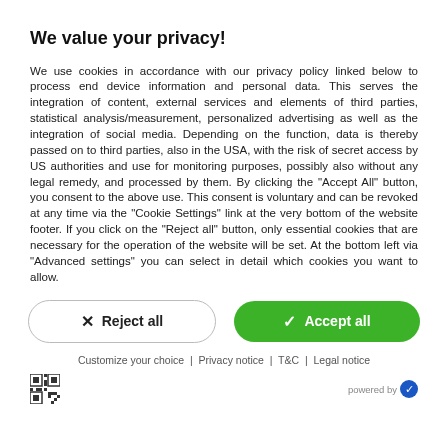We value your privacy!
We use cookies in accordance with our privacy policy linked below to process end device information and personal data. This serves the integration of content, external services and elements of third parties, statistical analysis/measurement, personalized advertising as well as the integration of social media. Depending on the function, data is thereby passed on to third parties, also in the USA, with the risk of secret access by US authorities and use for monitoring purposes, possibly also without any legal remedy, and processed by them. By clicking the "Accept All" button, you consent to the above use. This consent is voluntary and can be revoked at any time via the "Cookie Settings" link at the very bottom of the website footer. If you click on the "Reject all" button, only essential cookies that are necessary for the operation of the website will be set. At the bottom left via "Advanced settings" you can select in detail which cookies you want to allow.
✕ Reject all | ✓ Accept all
Customize your choice | Privacy notice | T&C | Legal notice | powered by